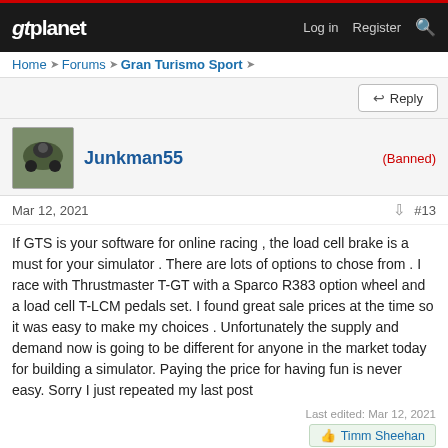gtplanet  Log in  Register
Home > Forums > Gran Turismo Sport >
Reply
Junkman55 (Banned)
Mar 12, 2021  #13
If GTS is your software for online racing , the load cell brake is a must for your simulator . There are lots of options to chose from . I race with Thrustmaster T-GT with a Sparco R383 option wheel and a load cell T-LCM pedals set. I found great sale prices at the time so it was easy to make my choices . Unfortunately the supply and demand now is going to be different for anyone in the market today for building a simulator. Paying the price for having fun is never easy. Sorry I just repeated my last post
Last edited: Mar 12, 2021
Timm Sheehan